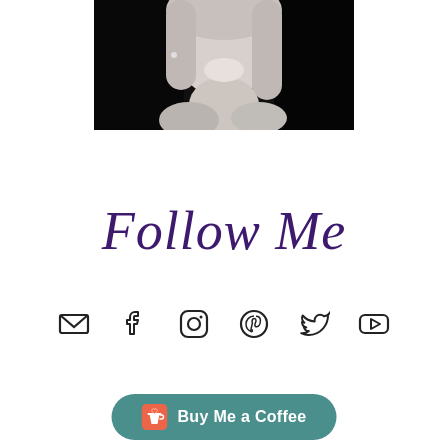[Figure (photo): Black and white portrait photo of a smiling blonde woman, cropped at top of page]
Follow Me
[Figure (infographic): Row of social media icons: email envelope, Facebook, Instagram, Pinterest, Twitter/X, YouTube]
[Figure (infographic): Buy Me a Coffee button with heart/coffee cup logo icon]